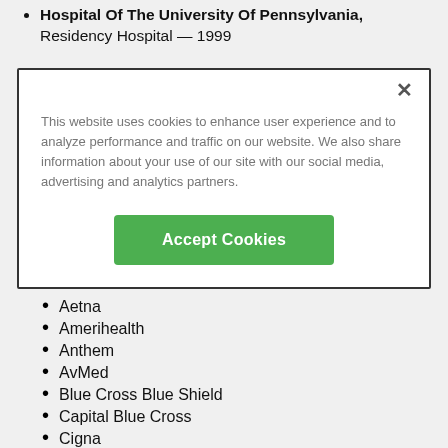Hospital Of The University Of Pennsylvania, Residency Hospital — 1999
This website uses cookies to enhance user experience and to analyze performance and traffic on our website. We also share information about your use of our site with our social media, advertising and analytics partners.
Aetna
Amerihealth
Anthem
AvMed
Blue Cross Blue Shield
Capital Blue Cross
Cigna